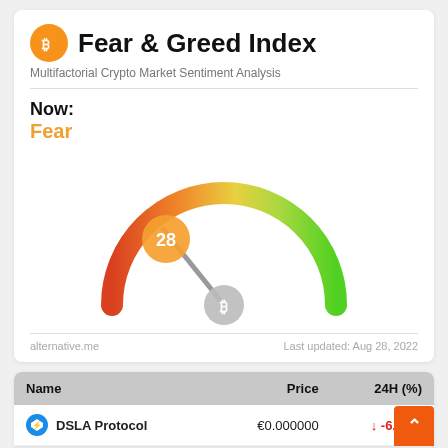Fear & Greed Index
Multifactorial Crypto Market Sentiment Analysis
Now:
Fear
[Figure (other): Semicircular gauge chart showing Fear & Greed Index value of 28 (Fear). The gauge arc transitions from red on the left through orange, yellow, to green on the right. A pointer/needle points to approximately 28 on the scale, with a Bitcoin logo at the pivot point. A circle showing '28' is displayed near the left portion of the arc.]
alternative.me
Last updated: Aug 28, 2022
| Name | Price | 24H (%) |
| --- | --- | --- |
| DSLA Protocol | €0.000000 | ↓ -6.88% |